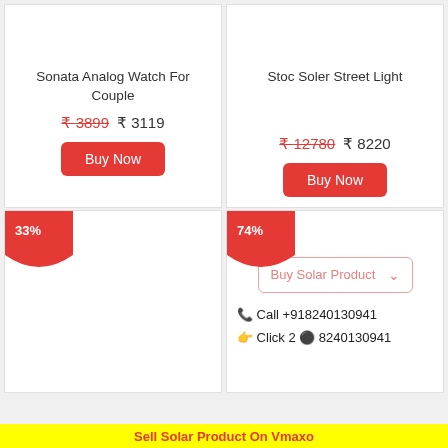Sonata Analog Watch For Couple
₹3899  ₹ 3119
Buy Now
Stoc Soler Street Light
₹12780  ₹ 8220
Buy Now
33%
74%
Buy Solar Product
📞 Call +918240130941
👆 Click 2 🟢 8240130941
Sell Solar Product On Vmaxo